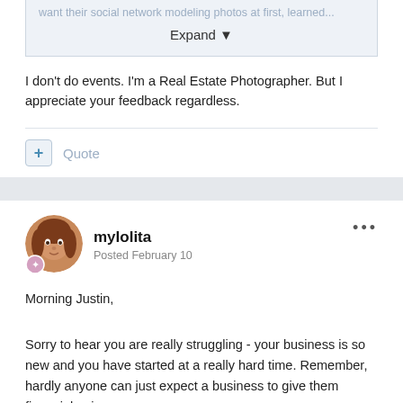want their social network modeling photos at first, learned...
Expand
I don't do events. I'm a Real Estate Photographer. But I appreciate your feedback regardless.
Quote
[Figure (photo): User avatar photo of mylolita, a woman with reddish-brown hair, circular crop with a badge icon at bottom-left]
mylolita
Posted February 10
Morning Justin,
Sorry to hear you are really struggling - your business is so new and you have started at a really hard time. Remember, hardly anyone can just expect a business to give them financial gain